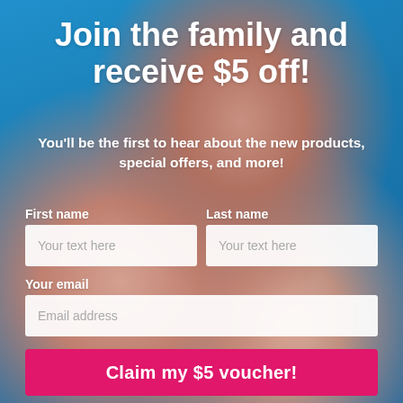[Figure (photo): Background photo of a hand holding a pink egg-shaped beauty sponge with colorful painted nails, against a bright blue background.]
Join the family and receive $5 off!
You'll be the first to hear about the new products, special offers, and more!
First name
Last name
Your text here
Your text here
Your email
Email address
Claim my $5 voucher!